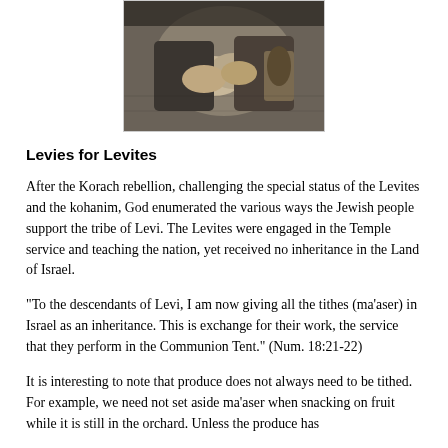[Figure (photo): Black and white photograph showing hands/figures, partially visible at top of page]
Levies for Levites
After the Korach rebellion, challenging the special status of the Levites and the kohanim, God enumerated the various ways the Jewish people support the tribe of Levi. The Levites were engaged in the Temple service and teaching the nation, yet received no inheritance in the Land of Israel.
“To the descendants of Levi, I am now giving all the tithes (ma’aser) in Israel as an inheritance. This is exchange for their work, the service that they perform in the Communion Tent.” (Num. 18:21-22)
It is interesting to note that produce does not always need to be tithed. For example, we need not set aside ma’aser when snacking on fruit while it is still in the orchard. Unless the produce has